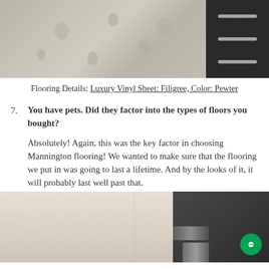[Figure (photo): Photo of luxury vinyl sheet flooring in a bathroom/room with a dark charcoal drawer unit on the right side. The floor shows a subtle patterned design in grey tones.]
Flooring Details: Luxury Vinyl Sheet: Filigree, Color: Pewter
7. You have pets. Did they factor into the types of floors you bought? Absolutely! Again, this was the key factor in choosing Mannington flooring! We wanted to make sure that the flooring we put in was going to last a lifetime. And by the looks of it, it will probably last well past that.
[Figure (photo): Photo of a room interior with beige/cream walls and dark furniture or shelving visible on the right side. A green chat bubble icon is visible in the lower right corner.]